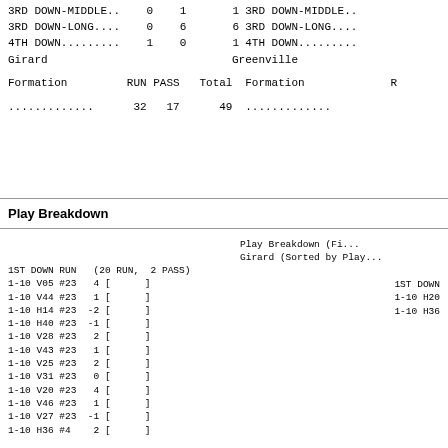|  |  |  |  |  |  |  |  |
| --- | --- | --- | --- | --- | --- | --- | --- |
| 3RD DOWN-MIDDLE.. | 0 | 1 | 1 | 3RD DOWN-MIDDLE.. |
| 3RD DOWN-LONG.... | 0 | 6 | 6 | 3RD DOWN-LONG.... |
| 4TH DOWN......... | 1 | 0 | 1 | 4TH DOWN......... |
Girard
Greenville
| Formation | RUN | PASS | Total | Formation | R |
| --- | --- | --- | --- | --- | --- |
| ............. | 32 | 17 | 49 | ............. |
Play Breakdown
Play Breakdown (Fi...
Girard (Sorted by Play...
| 1ST DOWN RUN | (20 RUN, 2 PASS) |  | 1ST DOWN |
| --- | --- | --- | --- |
| 1-10 V05 #23 | 4 | [     ] | 1-10 H20 |
| 1-10 V44 #23 | 1 | [     ] | 1-10 H36 |
| 1-10 H14 #23 | -2 | [     ] |  |
| 1-10 H40 #23 | -1 | [     ] |  |
| 1-10 V28 #23 | 2 | [     ] |  |
| 1-10 V43 #23 | 1 | [     ] |  |
| 1-10 V25 #23 | 2 | [     ] |  |
| 1-10 V31 #23 | 0 | [     ] |  |
| 1-10 V20 #23 | 4 | [     ] |  |
| 1-10 V46 #23 | 1 | [     ] |  |
| 1-10 V27 #23 | -1 | [     ] |  |
| 1-10 H36 #4 | 2 | [     ] |  |